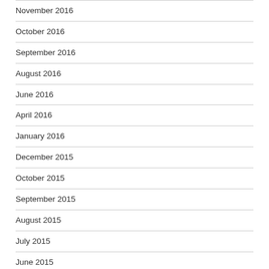November 2016
October 2016
September 2016
August 2016
June 2016
April 2016
January 2016
December 2015
October 2015
September 2015
August 2015
July 2015
June 2015